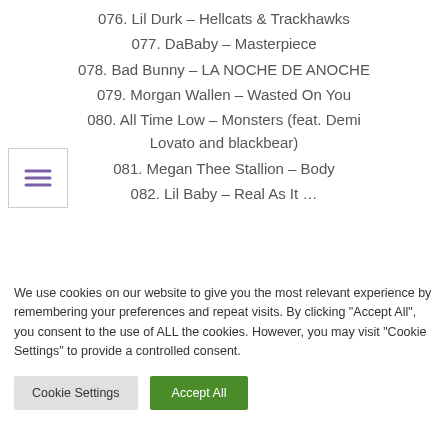076. Lil Durk – Hellcats & Trackhawks
077. DaBaby – Masterpiece
078. Bad Bunny – LA NOCHE DE ANOCHE
079. Morgan Wallen – Wasted On You
080. All Time Low – Monsters (feat. Demi Lovato and blackbear)
081. Megan Thee Stallion – Body
082. Lil Baby – Real As It …
We use cookies on our website to give you the most relevant experience by remembering your preferences and repeat visits. By clicking "Accept All", you consent to the use of ALL the cookies. However, you may visit "Cookie Settings" to provide a controlled consent.